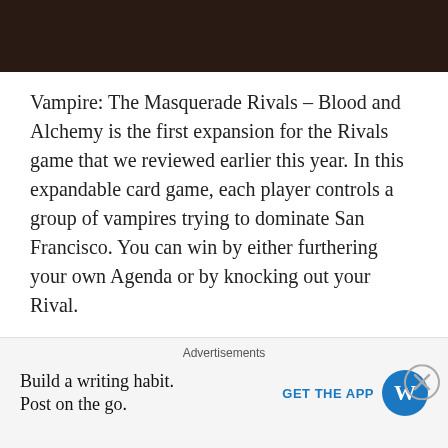[Figure (photo): Dark brown/black background image at the top of the page]
Vampire: The Masquerade Rivals – Blood and Alchemy is the first expansion for the Rivals game that we reviewed earlier this year.  In this expandable card game, each player controls a group of vampires trying to dominate San Francisco.  You can win by either furthering your own Agenda or by knocking out your Rival.
The base game comes with 4 pre-sealed basic decks – one for each clan: Burjah, Toreador, Venture, Malkavian.  This Blood and Alchemy expansion adds two new clans – the Thin-Bloods and Tremere.  The Thin-Bloods mix chemicals with their Blood to extract power from it with
Advertisements
Build a writing habit.
Post on the go.
GET THE APP